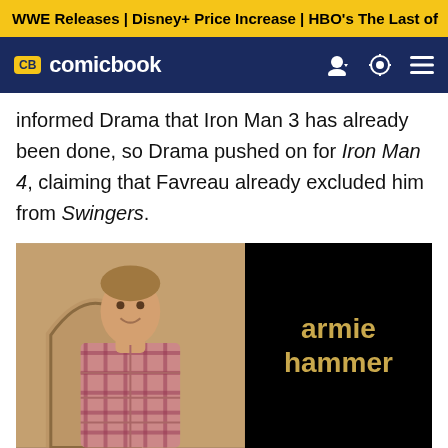WWE Releases | Disney+ Price Increase | HBO's The Last of
CB comicbook
informed Drama that Iron Man 3 has already been done, so Drama pushed on for Iron Man 4, claiming that Favreau already excluded him from Swingers.
[Figure (photo): Left half: Armie Hammer smiling in a plaid shirt against an arched wall background. Right half: Black background with golden text reading 'armie hammer'.]
Armie Hammer